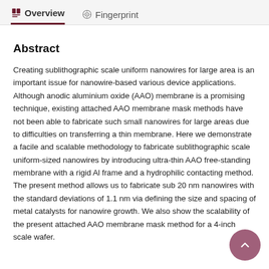Overview   Fingerprint
Abstract
Creating sublithographic scale uniform nanowires for large area is an important issue for nanowire-based various device applications. Although anodic aluminium oxide (AAO) membrane is a promising technique, existing attached AAO membrane mask methods have not been able to fabricate such small nanowires for large areas due to difficulties on transferring a thin membrane. Here we demonstrate a facile and scalable methodology to fabricate sublithographic scale uniform-sized nanowires by introducing ultra-thin AAO free-standing membrane with a rigid Al frame and a hydrophilic contacting method. The present method allows us to fabricate sub 20 nm nanowires with the standard deviations of 1.1 nm via defining the size and spacing of metal catalysts for nanowire growth. We also show the scalability of the present attached AAO membrane mask method for a 4-inch scale wafer.